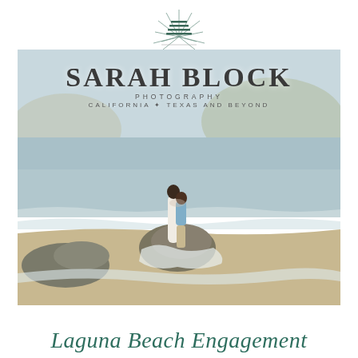[Figure (logo): Sarah Block Photography logo — stylized sunburst/lines icon in teal/dark green]
[Figure (photo): Engagement photo of a couple standing on a large rock at Laguna Beach, California. The woman is in a white dress and the man is in a blue shirt and khaki pants. The ocean, sandy beach, and coastal hills are visible in the background. The Sarah Block Photography brand name and tagline are overlaid on top of the photo.]
Laguna Beach Engagement